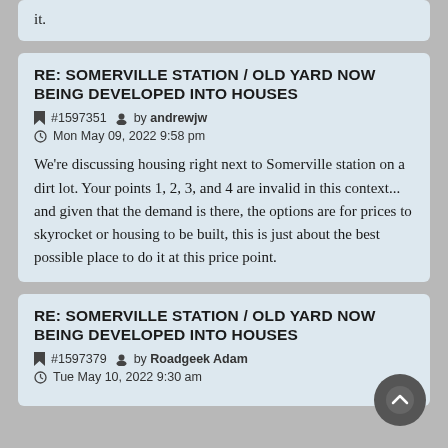it.
RE: SOMERVILLE STATION / OLD YARD NOW BEING DEVELOPED INTO HOUSES
#1597351 by andrewjw
Mon May 09, 2022 9:58 pm
We're discussing housing right next to Somerville station on a dirt lot. Your points 1, 2, 3, and 4 are invalid in this context... and given that the demand is there, the options are for prices to skyrocket or housing to be built, this is just about the best possible place to do it at this price point.
RE: SOMERVILLE STATION / OLD YARD NOW BEING DEVELOPED INTO HOUSES
#1597379 by Roadgeek Adam
Tue May 10, 2022 9:30 am